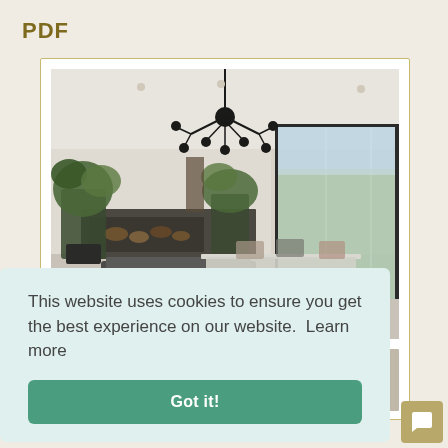PDF
[Figure (photo): Interior photo of a modern open-plan living and dining room with a large dining table surrounded by colorful chairs, a black chandelier, large floor-to-ceiling glass sliding doors opening to a garden, a low sofa, fireplace with stacked wood, and potted plants.]
This website uses cookies to ensure you get the best experience on our website.  Learn more
Got it!